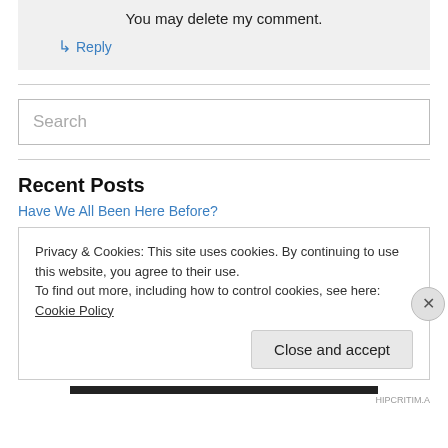You may delete my comment.
↳ Reply
Search
Recent Posts
Have We All Been Here Before?
Privacy & Cookies: This site uses cookies. By continuing to use this website, you agree to their use. To find out more, including how to control cookies, see here: Cookie Policy
Close and accept
HIPCRITIM.A